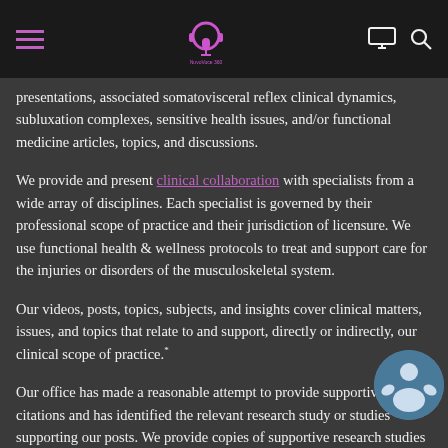NuvoVoce 360 navigation bar with logo, hamburger menu, monitor icon, and search icon
presentations, associated somatovisceral reflex clinical dynamics, subluxation complexes, sensitive health issues, and/or functional medicine articles, topics, and discussions.
We provide and present clinical collaboration with specialists from a wide array of disciplines. Each specialist is governed by their professional scope of practice and their jurisdiction of licensure. We use functional health & wellness protocols to treat and support care for the injuries or disorders of the musculoskeletal system.
Our videos, posts, topics, subjects, and insights cover clinical matters, issues, and topics that relate to and support, directly or indirectly, our clinical scope of practice.*
Our office has made a reasonable attempt to provide supportive citations and has identified the relevant research study or studies supporting our posts. We provide copies of supportive research studies available to regulatory boards and the public.